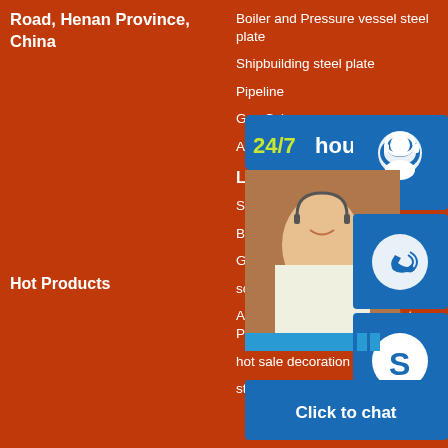Road, Henan Province, China
Hot Products
Boiler and Pressure vessel steel plate
Shipbuilding steel plate
Pipeline
Gas Cyl
API 5L s
Latest
Seamles
Bends i
Gr B AP
sch40 erw steel pipe price erw
AISI 5160h Carbon Steel Plate Pipe Bar
hot sale decoration 304
stainless steel pipe from china
[Figure (photo): Customer service representative smiling, sitting at a desk with a headset, with blue overlay chat widgets showing 24/7 hour service icons (headset, phone, Skype) and a Click to chat button]